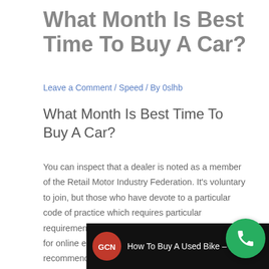What Month Is Best Time To Buy A Car?
Leave a Comment / Speed / By 0slhb
What Month Is Best Time To Buy A Car?
You can inspect that a dealer is noted as a member of the Retail Motor Industry Federation. It's voluntary to join, but those who have devote to a particular code of practice which requires particular requirements. Search for a recognized firm and look for online evaluations. Likewise ask buddies for recommendations.
[Figure (screenshot): Video thumbnail showing GCN logo (red circle) with text 'How To Buy A Used Bike – W...' on dark background]